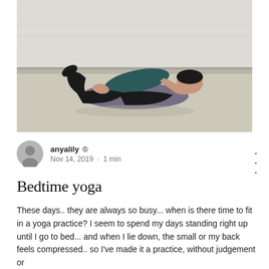[Figure (photo): A person in black yoga attire lying on a yoga mat/bolster in a reclined twist or restorative yoga pose on a light-colored studio floor against a white brick wall.]
anyalily ♛
Nov 14, 2019 · 1 min
Bedtime yoga
These days.. they are always so busy... when is there time to fit in a yoga practice? I seem to spend my days standing right up until I go to bed... and when I lie down, the small or my back feels compressed.. so I've made it a practice, without judgement or